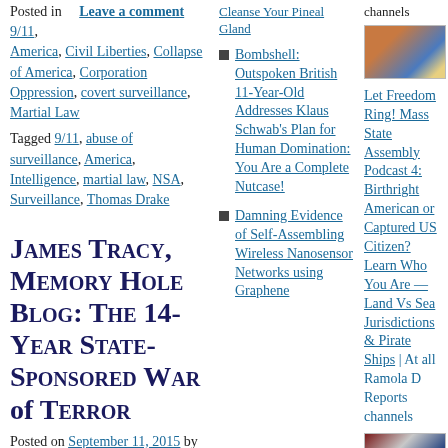Posted in   Leave a comment
9/11,
America, Civil Liberties, Collapse of America, Corporation Oppression, covert surveillance, Martial Law
Tagged 9/11, abuse of surveillance, America, Intelligence, martial law, NSA, Surveillance, Thomas Drake
James Tracy, Memory Hole Blog: The 14-Year State-Sponsored War of Terror
Posted on September 11, 2015 by Ramola D | Leave a comment
Bombshell: Outspoken British 11-Year-Old Addresses Klaus Schwab's Plan for Human Domination: You Are a Complete Nutcase!
Damning Evidence of Self-Assembling Wireless Nanosensor Networks using Graphene
Let Freedom Ring! Mass State Assembly Podcast 4: Birthright American or Captured US Citizen? Learn Who You Are — Land Vs Sea Jurisdictions & Pirate Ships | At all Ramola D Reports channels
channels